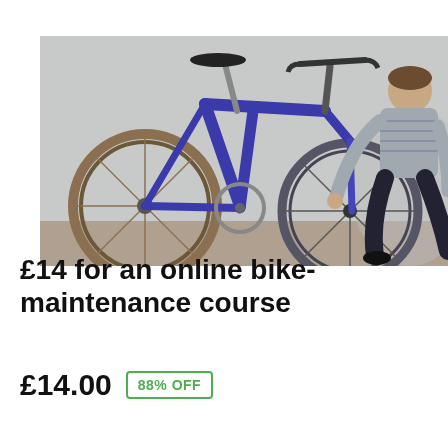[Figure (photo): Young man crouching and working on the rear wheel of a blue bicycle leaning against a white wall. The bike is in the foreground, the person is wearing a grey striped hoodie and dark trousers.]
£14 for an online bike-maintenance course
£14.00  88% OFF